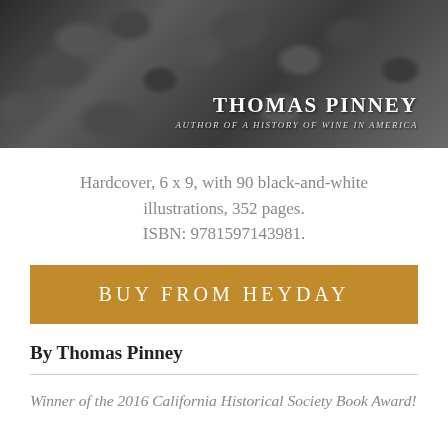[Figure (photo): Black-and-white photo of leaves/foliage with author name 'THOMAS PINNEY' and subtitle 'AUTHOR OF A HISTORY OF WINE IN AMERICA' overlaid in white text on the right side.]
Hardcover, 6 x 9, with 90 black-and-white illustrations, 352 pages. ISBN: 9781597143981.
BUY FROM HEYDAY
By Thomas Pinney
Winner of the 2016 California Historical Society Book Award!